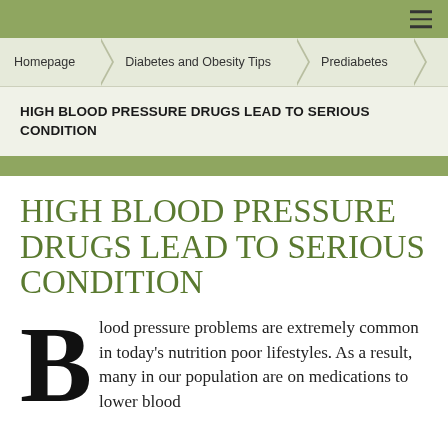≡
Homepage > Diabetes and Obesity Tips > Prediabetes
HIGH BLOOD PRESSURE DRUGS LEAD TO SERIOUS CONDITION
HIGH BLOOD PRESSURE DRUGS LEAD TO SERIOUS CONDITION
Blood pressure problems are extremely common in today's nutrition poor lifestyles. As a result, many in our population are on medications to lower blood